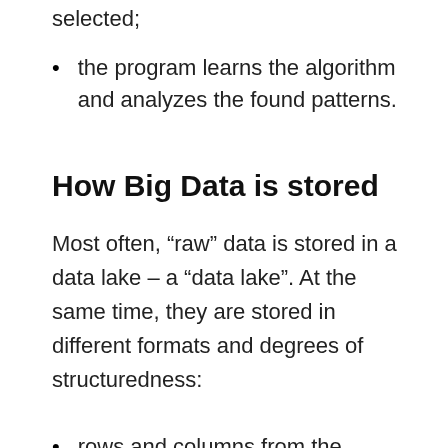selected;
the program learns the algorithm and analyzes the found patterns.
How Big Data is stored
Most often, “raw” data is stored in a data lake – a “data lake”. At the same time, they are stored in different formats and degrees of structuredness:
rows and columns from the database –